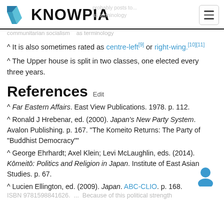KNOWPIA
^ It is also sometimes rated as centre-left[9] or right-wing.[10][11]
^ The Upper house is split in two classes, one elected every three years.
References  Edit
^ Far Eastern Affairs. East View Publications. 1978. p. 112.
^ Ronald J Hrebenar, ed. (2000). Japan's New Party System. Avalon Publishing. p. 167. "The Komeito Returns: The Party of "Buddhist Democracy""
^ George Ehrhardt; Axel Klein; Levi McLaughlin, eds. (2014). Kōmeitō: Politics and Religion in Japan. Institute of East Asian Studies. p. 67.
^ Lucien Ellington, ed. (2009). Japan. ABC-CLIO. p. 168. ISBN 9781598841626. ... Because of this political strength